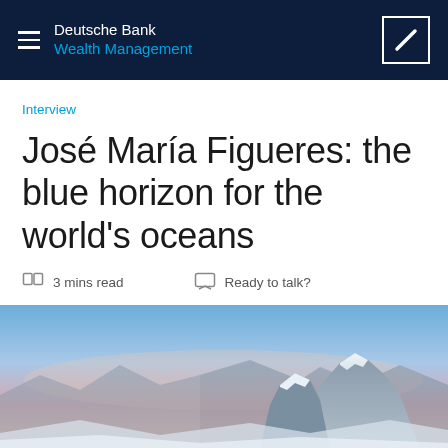Deutsche Bank Wealth Management
Interview
José María Figueres: the blue horizon for the world's oceans
3 mins read   Ready to talk?
[Figure (photo): Mountain landscape with snow-capped peaks against a blue and pink sky at dusk]